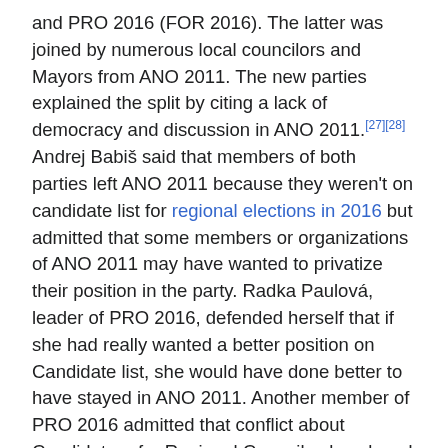and PRO 2016 (FOR 2016). The latter was joined by numerous local councilors and Mayors from ANO 2011. The new parties explained the split by citing a lack of democracy and discussion in ANO 2011.[27][28] Andrej Babiš said that members of both parties left ANO 2011 because they weren't on candidate list for regional elections in 2016 but admitted that some members or organizations of ANO 2011 may have wanted to privatize their position in the party. Radka Paulová, leader of PRO 2016, defended herself that if she had really wanted a better position on Candidate list, she would have done better to have stayed in ANO 2011. Another member of PRO 2016 admitted that conflict about Candidature for Regional Councils also played a role. She said that the main criterion for candidates to regional councils was not professionalism but loyalty.[29][30] ANO 2011 also lost one MP in July 2016 when Kristýna Zelienková left the party.[31]
ANO won 2016 regional elections and the first round of the 2016 senate election. The party came first in nine regions and